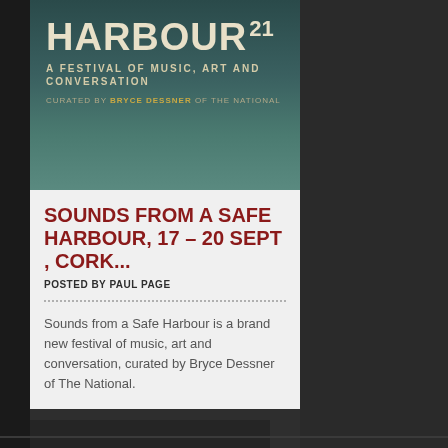[Figure (illustration): Festival poster image for 'Sounds From A Safe Harbour' — A Festival of Music, Art and Conversation, curated by Bryce Dessner of The National. Shows 'HARBOUR' text in large cream letters on a teal/dark green waterfront background with number 21 visible.]
SOUNDS FROM A SAFE HARBOUR, 17 – 20 SEPT , CORK...
POSTED BY PAUL PAGE
Sounds from a Safe Harbour is a brand new festival of music, art and conversation, curated by Bryce Dessner of The National.